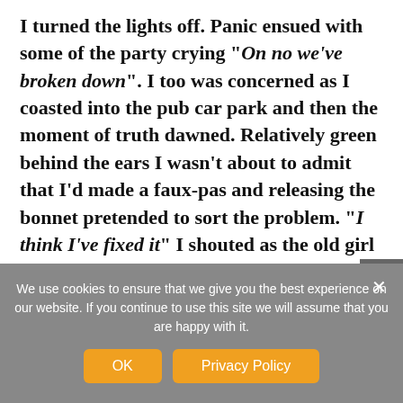I turned the lights off. Panic ensued with some of the party crying "On no we've broken down". I too was concerned as I coasted into the pub car park and then the moment of truth dawned. Relatively green behind the ears I wasn't about to admit that I'd made a faux-pas and releasing the bonnet pretended to sort the problem. "I think I've fixed it" I shouted as the old girl roared into life. On arrival at Bristol the passengers were ecstatic singing my praises. As they dispersed one of the three old hands. Dick
We use cookies to ensure that we give you the best experience on our website. If you continue to use this site we will assume that you are happy with it.